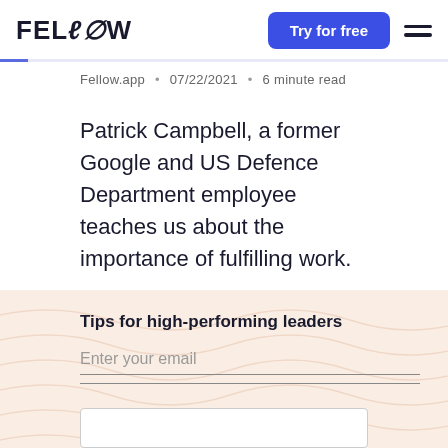FELLOW — Try for free
Fellow.app • 07/22/2021 • 6 minute read
Patrick Campbell, a former Google and US Defence Department employee teaches us about the importance of fulfilling work.
Tips for high-performing leaders
Enter your email